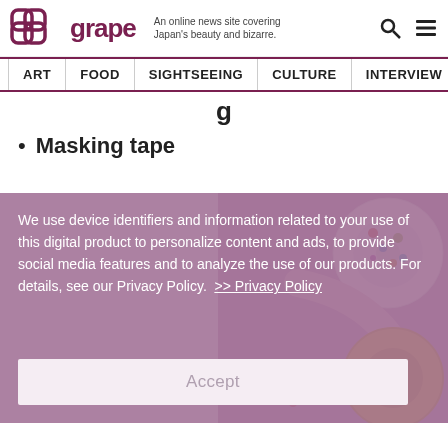grape – An online news site covering Japan's beauty and bizarre.
ART | FOOD | SIGHTSEEING | CULTURE | INTERVIEW
g
Masking tape
We use device identifiers and information related to your use of this digital product to personalize content and ads, to provide social media features and to analyze the use of our products. For details, see our Privacy Policy. >> Privacy Policy
[Figure (photo): Rolls of decorative masking/washi tape with colorful patterns on a mauve/purple background]
Accept